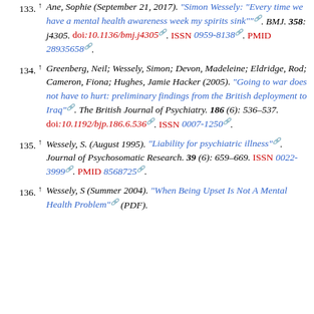133. ↑ Ane, Sophie (September 21, 2017). "Simon Wessely: 'Every time we have a mental health awareness week my spirits sink'". BMJ. 358: j4305. doi:10.1136/bmj.j4305. ISSN 0959-8138. PMID 28935658.
134. ↑ Greenberg, Neil; Wessely, Simon; Devon, Madeleine; Eldridge, Rod; Cameron, Fiona; Hughes, Jamie Hacker (2005). "Going to war does not have to hurt: preliminary findings from the British deployment to Iraq". The British Journal of Psychiatry. 186 (6): 536–537. doi:10.1192/bjp.186.6.536. ISSN 0007-1250.
135. ↑ Wessely, S. (August 1995). "Liability for psychiatric illness". Journal of Psychosomatic Research. 39 (6): 659–669. ISSN 0022-3999. PMID 8568725.
136. ↑ Wessely, S (Summer 2004). "When Being Upset Is Not A Mental Health Problem" (PDF).